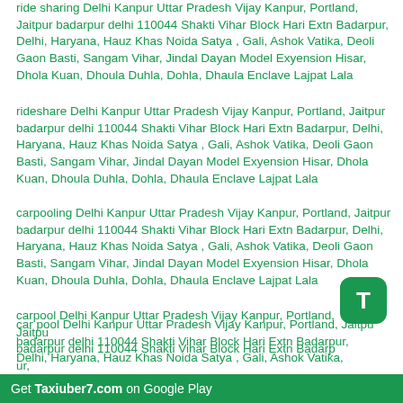ride sharing Delhi Kanpur Uttar Pradesh Vijay Kanpur, Portland, Jaitpur badarpur delhi 110044 Shakti Vihar Block Hari Extn Badarpur, Delhi, Haryana, Hauz Khas Noida Satya , Gali, Ashok Vatika, Deoli Gaon Basti, Sangam Vihar, Jindal Dayan Model Exyension Hisar, Dhola Kuan, Dhoula Duhla, Dohla, Dhaula Enclave Lajpat Lala
rideshare Delhi Kanpur Uttar Pradesh Vijay Kanpur, Portland, Jaitpur badarpur delhi 110044 Shakti Vihar Block Hari Extn Badarpur, Delhi, Haryana, Hauz Khas Noida Satya , Gali, Ashok Vatika, Deoli Gaon Basti, Sangam Vihar, Jindal Dayan Model Exyension Hisar, Dhola Kuan, Dhoula Duhla, Dohla, Dhaula Enclave Lajpat Lala
carpooling Delhi Kanpur Uttar Pradesh Vijay Kanpur, Portland, Jaitpur badarpur delhi 110044 Shakti Vihar Block Hari Extn Badarpur, Delhi, Haryana, Hauz Khas Noida Satya , Gali, Ashok Vatika, Deoli Gaon Basti, Sangam Vihar, Jindal Dayan Model Exyension Hisar, Dhola Kuan, Dhoula Duhla, Dohla, Dhaula Enclave Lajpat Lala
carpool Delhi Kanpur Uttar Pradesh Vijay Kanpur, Portland, Jaitpur badarpur delhi 110044 Shakti Vihar Block Hari Extn Badarpur, Delhi, Haryana, Hauz Khas Noida Satya , Gali, Ashok Vatika, Deoli Gaon Basti, Sangam Vihar, Jindal Dayan Model Exyension Hisar, Dhola Kuan, Dhoula Duhla, Dohla, Dhaula Enclave Lajpat Lala
car pool Delhi Kanpur Uttar Pradesh Vijay Kanpur, Portland, Jaitpur badarpur delhi 110044 Shakti Vihar Block Hari Extn Badarpur, Delhi, Haryana, Hauz Khas Noida Satya , Gali, Ashok Vatika, Deoli Gaon Basti
Get Taxiuber7.com on Google Play